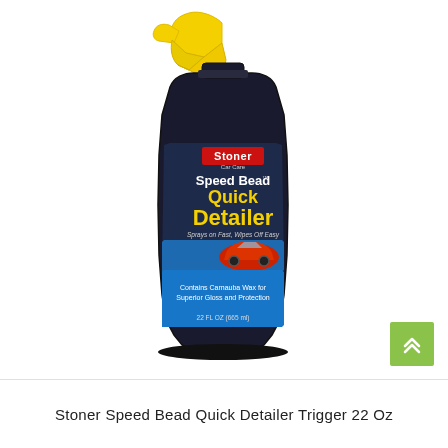[Figure (photo): A black spray bottle with yellow trigger sprayer. Label reads 'Stoner Car Care Speed Bead Quick Detailer - Sprays on Fast, Wipes Off Easy - Contains Carnauba Wax for Superior Gloss and Protection - 22 FL OZ (665 ml)'. The label shows a red sports car on a blue and silver graphic background.]
Stoner Speed Bead Quick Detailer Trigger 22 Oz